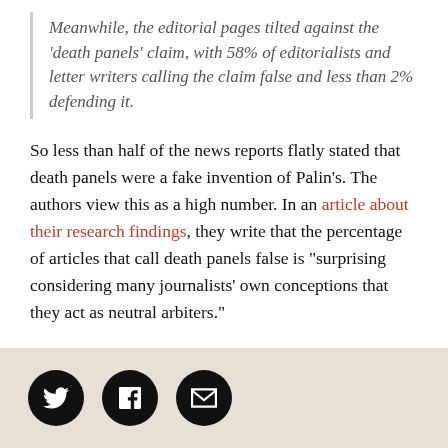Meanwhile, the editorial pages tilted against the 'death panels' claim, with 58% of editorialists and letter writers calling the claim false and less than 2% defending it.
So less than half of the news reports flatly stated that death panels were a fake invention of Palin's. The authors view this as a high number. In an article about their research findings, they write that the percentage of articles that call death panels false is "surprising considering many journalists' own conceptions that they act as neutral arbiters."
That orientation—which comes from the notion of objectivity—also helps explain a rather strange
[Figure (other): Social sharing footer bar with Twitter, Facebook, and email icon buttons on a tan/beige background]